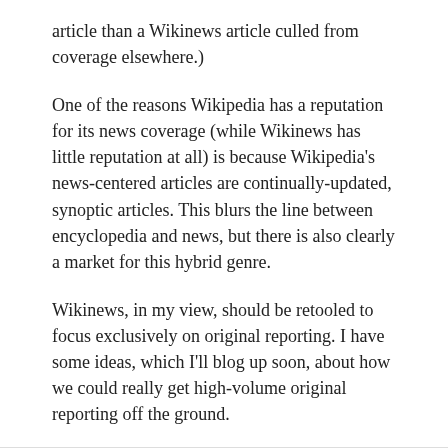article than a Wikinews article culled from coverage elsewhere.)
One of the reasons Wikipedia has a reputation for its news coverage (while Wikinews has little reputation at all) is because Wikipedia's news-centered articles are continually-updated, synoptic articles. This blurs the line between encyclopedia and news, but there is also clearly a market for this hybrid genre.
Wikinews, in my view, should be retooled to focus exclusively on original reporting. I have some ideas, which I'll blog up soon, about how we could really get high-volume original reporting off the ground.
REPLY